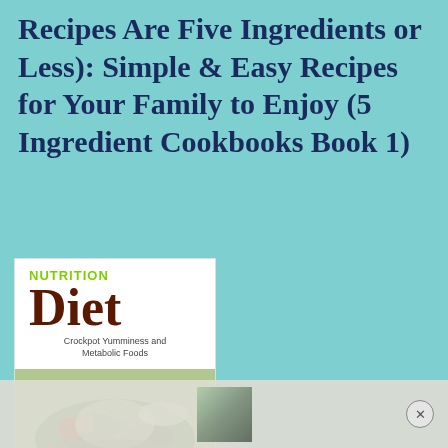Recipes Are Five Ingredients or Less): Simple & Easy Recipes for Your Family to Enjoy (5 Ingredient Cookbooks Book 1)
[Figure (illustration): Book cover for 'Nutrition Diet: Crockpot Yumminess and Metabolic Foods' showing title text and a food photograph with vegetables and salad.]